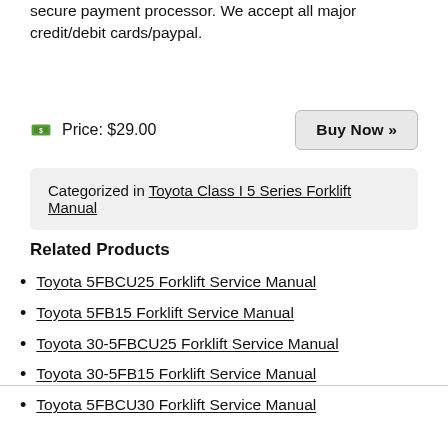secure payment processor. We accept all major credit/debit cards/paypal.
Price: $29.00
Buy Now »
Categorized in Toyota Class I 5 Series Forklift Manual
Related Products
Toyota 5FBCU25 Forklift Service Manual
Toyota 5FB15 Forklift Service Manual
Toyota 30-5FBCU25 Forklift Service Manual
Toyota 30-5FB15 Forklift Service Manual
Toyota 5FBCU30 Forklift Service Manual